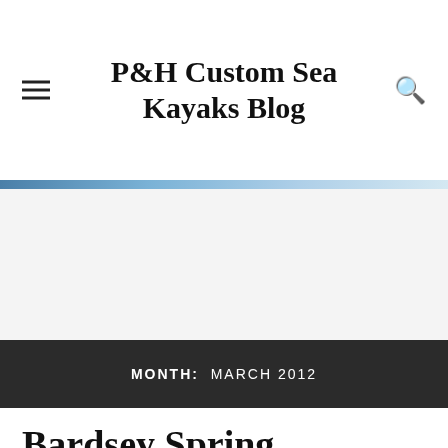P&H Custom Sea Kayaks Blog
MONTH: MARCH 2012
Bardsey Spring
JIM KRAWIECKI / MARCH 26, 2012